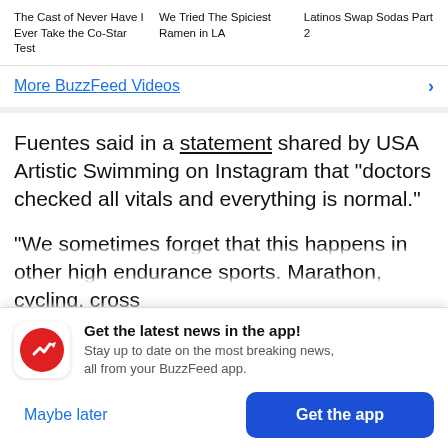The Cast of Never Have I Ever Take the Co-Star Test
We Tried The Spiciest Ramen in LA
Latinos Swap Sodas Part 2
More BuzzFeed Videos
Fuentes said in a statement shared by USA Artistic Swimming on Instagram that "doctors checked all vitals and everything is normal."
"We sometimes forget that this happens in other high-endurance sports. Marathon, cycling, cross
Get the latest news in the app! Stay up to date on the most breaking news, all from your BuzzFeed app.
Maybe later
Get the app